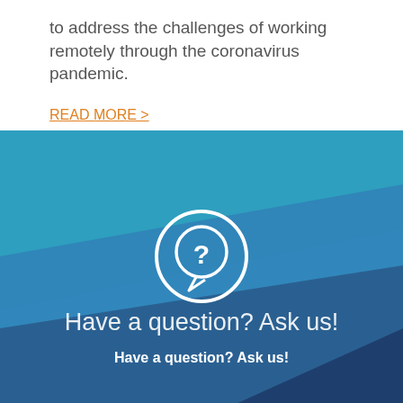to address the challenges of working remotely through the coronavirus pandemic.
READ MORE >
[Figure (infographic): Blue geometric background with question mark chat bubble icon in a circle, text 'Have a question? Ask us!' in large light text, and smaller bold text 'Have a question? Ask us!' below. Orange bar at the bottom.]